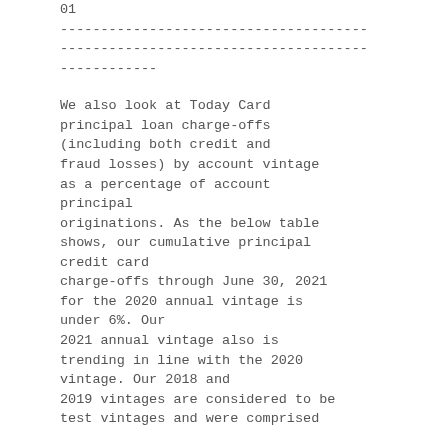01
--------------------------------------
--------------------------------------
------------
We also look at Today Card principal loan charge-offs (including both credit and fraud losses) by account vintage as a percentage of account principal originations. As the below table shows, our cumulative principal credit card charge-offs through June 30, 2021 for the 2020 annual vintage is under 6%. Our 2021 annual vintage also is trending in line with the 2020 vintage. Our 2018 and 2019 vintages are considered to be test vintages and were comprised